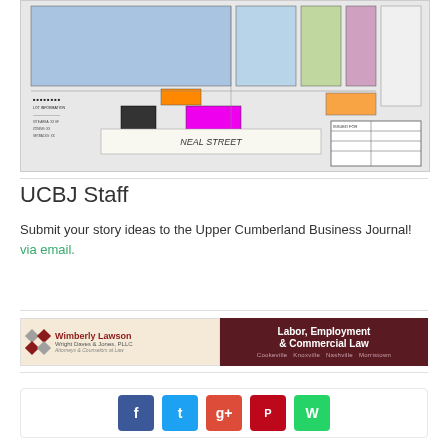[Figure (engineering-diagram): Architectural/engineering site plan blueprint showing building layouts, colored zones (blue, magenta, orange), and Neal Street label. Construction plan drawing with lot boundaries and annotations.]
UCBJ Staff
Submit your story ideas to the Upper Cumberland Business Journal! via email.
[Figure (illustration): Wimberly Lawson Wright Daves & Jones, PLLC advertisement banner. Left side: tan/cream background with diamond logo and firm name. Right side: dark maroon background with text 'Labor, Employment & Commercial Law' and cities: Cookeville, Knoxville, Nashville, Morristown.]
[Figure (illustration): Social media sharing buttons: Facebook (blue), Twitter (light blue), Google+ (red), Pinterest (dark red), WhatsApp (green).]